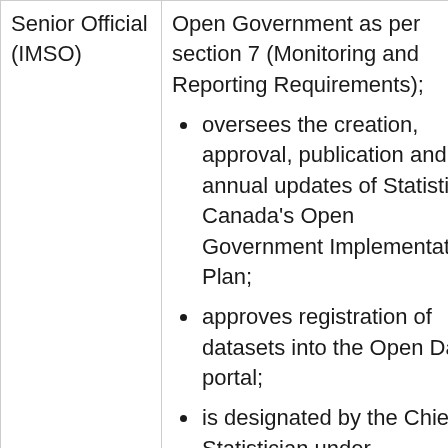| Senior Official (IMSO) | Open Government as per section 7 (Monitoring and Reporting Requirements); oversees the creation, approval, publication and annual updates of Statistics Canada's Open Government Implementation Plan; approves registration of datasets into the Open Data portal; is designated by the Chief Statistician under |